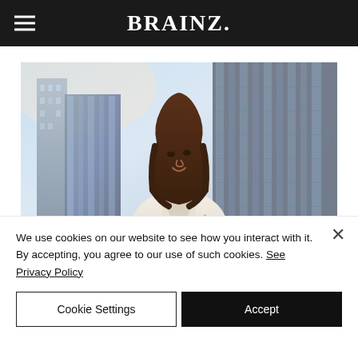BRAINZ.
[Figure (photo): Business woman in white blazer holding a notebook, standing in front of glass skyscrapers in an urban setting, looking upward and smiling.]
We use cookies on our website to see how you interact with it. By accepting, you agree to our use of such cookies. See Privacy Policy
Cookie Settings | Accept